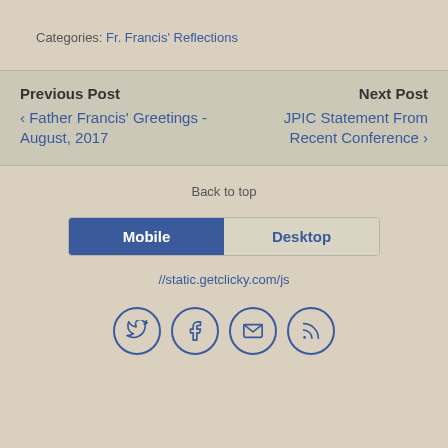Categories: Fr. Francis' Reflections
Previous Post ‹ Father Francis' Greetings - August, 2017
Next Post JPIC Statement From Recent Conference ›
✦ Back to top
Mobile  Desktop
//static.getclicky.com/js
[Figure (other): Social media icons: Twitter, Facebook, Email, RSS feed]